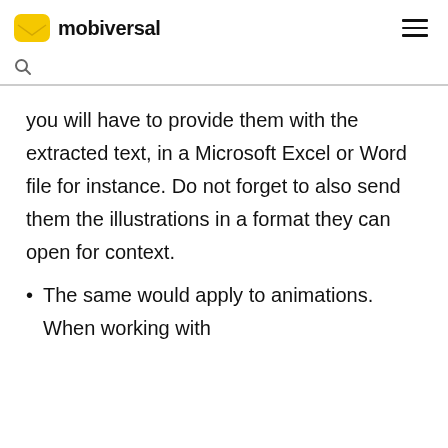mobiversal
you will have to provide them with the extracted text, in a Microsoft Excel or Word file for instance. Do not forget to also send them the illustrations in a format they can open for context.
The same would apply to animations. When working with